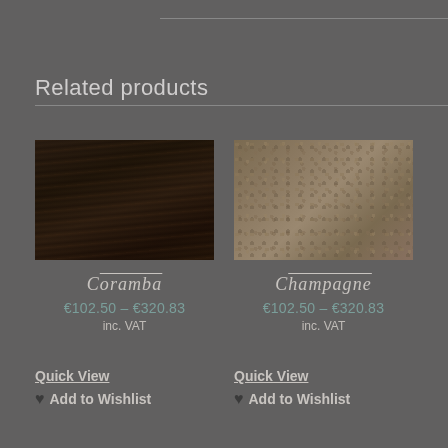Related products
[Figure (photo): Dark wood texture product image for Coramba]
CORAMBA
€102.50 – €320.83
inc. VAT
[Figure (photo): Champagne/beige stone texture product image for Champagne]
CHAMPAGNE
€102.50 – €320.83
inc. VAT
Quick View
♥ Add to Wishlist
Quick View
♥ Add to Wishlist